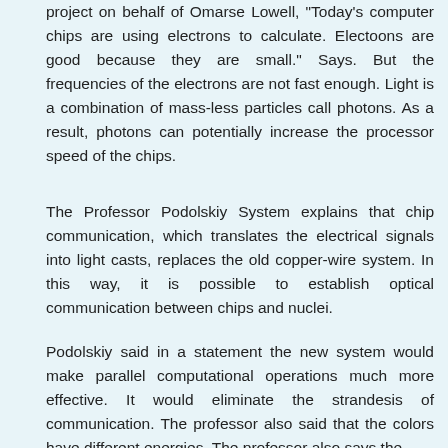project on behalf of Omarse Lowell, "Today's computer chips are using electrons to calculate. Electoons are good because they are small." Says. But the frequencies of the electrons are not fast enough. Light is a combination of mass-less particles call photons. As a result, photons can potentially increase the processor speed of the chips.
The Professor Podolskiy System explains that chip communication, which translates the electrical signals into light casts, replaces the old copper-wire system. In this way, it is possible to establish optical communication between chips and nuclei.
Podolskiy said in a statement the new system would make parallel computational operations much more effective. It would eliminate the strandesis of communication. The professor also said that the colors have different energies. The professor also says the